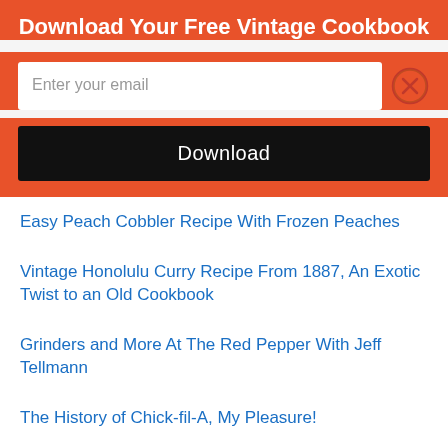Download Your Free Vintage Cookbook
[Figure (screenshot): Email input field with placeholder 'Enter your email' and a close (X) button]
[Figure (screenshot): Black Download button]
Easy Peach Cobbler Recipe With Frozen Peaches
Vintage Honolulu Curry Recipe From 1887, An Exotic Twist to an Old Cookbook
Grinders and More At The Red Pepper With Jeff Tellmann
The History of Chick-fil-A, My Pleasure!
Vintage Orange Fool Recipe From 1804: Creamy and Delicious
Vintage Shrimps Baked in Bell Peppers From 1887, Deliciously Funky
What is a Po' Boy: Digging Into This New Orleans Classic